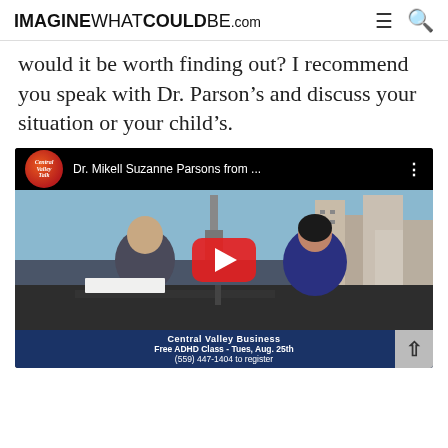IMAGINEWHATCOULDBE.com
would it be worth finding out? I recommend you speak with Dr. Parson’s and discuss your situation or your child’s.
[Figure (screenshot): YouTube video embed showing Dr. Mikell Suzanne Parsons from Central Valley Talk show, with two people seated at a desk with a cityscape background. Bottom lower-third reads: Central Valley Business / Free ADHD Class - Tues, Aug. 25th / (559) 447-1404 to register]